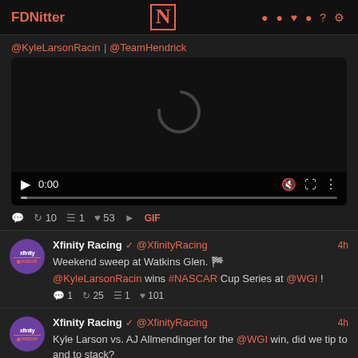FDNitter | N | search rss twitter login ? settings
@KyleLarsonRacin | @TeamHendrick
[Figure (screenshot): Embedded video player showing 0:00 timestamp, play button, mute icon, fullscreen icon, and three-dot menu, with progress bar at bottom]
💬  🔁 10  99 1  ❤ 53  ▶ GIF
Xfinity Racing ✓ @XfinityRacing  4h
Weekend sweep at Watkins Glen. 🏁

@KyleLarsonRacin wins #NASCAR Cup Series at @WGI!

💬 1  🔁 25  99 1  ❤ 101
Xfinity Racing ✓ @XfinityRacing  4h
Kyle Larson vs. AJ Allmendinger for the @WGI win, did we tip to and to stack?